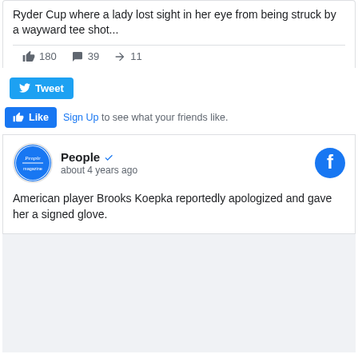Ryder Cup where a lady lost sight in her eye from being struck by a wayward tee shot...
180  39  11
[Figure (screenshot): Tweet button (Twitter/X blue button with bird icon)]
[Figure (screenshot): Facebook Like button and Sign Up link: 'Sign Up to see what your friends like.']
[Figure (screenshot): People magazine Facebook page post. Logo circle with 'People' text, verified checkmark, 'about 4 years ago', Facebook icon top right.]
American player Brooks Koepka reportedly apologized and gave her a signed glove.